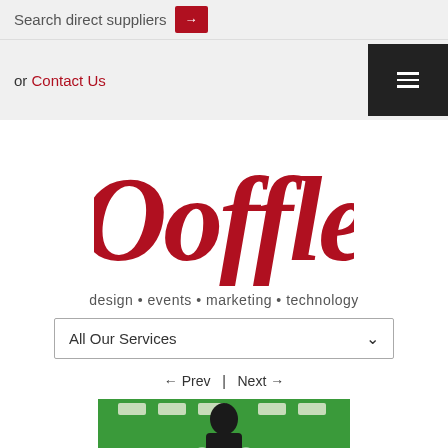Search direct suppliers
or Contact Us
[Figure (logo): Ooffle logo in red cursive script]
design • events • marketing • technology
All Our Services
← Prev  |  Next →
[Figure (photo): Photo showing a person in front of a green background with ceiling lights]